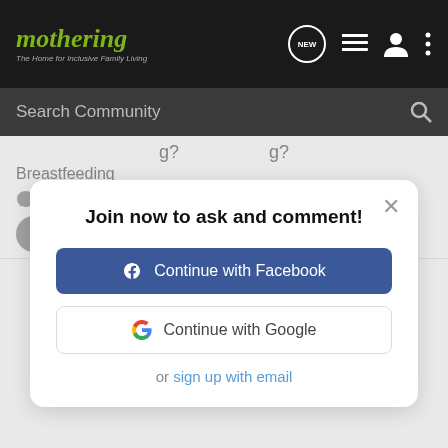[Figure (screenshot): Mothering.com website header with logo, navigation icons (NEW badge, list, user, more), and search bar]
Breastfeeding
13  15K
Join now to ask and comment!
Continue with Facebook
Continue with Google
or sign up with email
kissuluvs 0 ?
Diapering